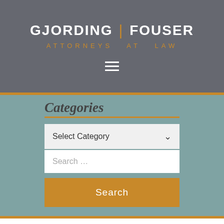[Figure (logo): Gjording Fouser Attorneys at Law law firm logo with white firm name and gold tagline on dark gray background]
Categories
[Figure (screenshot): Select Category dropdown UI element with gray background]
[Figure (screenshot): Search text input field with placeholder text 'Search ...']
[Figure (screenshot): Orange Search button]
this advice in conjunction with explaining that the judge and jury will be evaluating the expert on body language, dress, and etiquette. Interestingly, the impact of an expert's likability on the credibility of the expert varies among